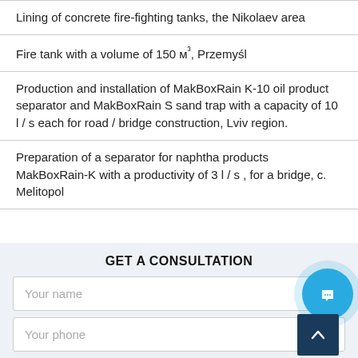Lining of concrete fire-fighting tanks, the Nikolaev area
Fire tank with a volume of 150 м³, Przemyśl
Production and installation of MakBoxRain K-10 oil product separator and MakBoxRain S sand trap with a capacity of 10 l / s each for road / bridge construction, Lviv region.
Preparation of a separator for naphtha products MakBoxRain-K with a productivity of 3 l / s , for a bridge, c. Melitopol
GET A CONSULTATION
Your name
Your phone